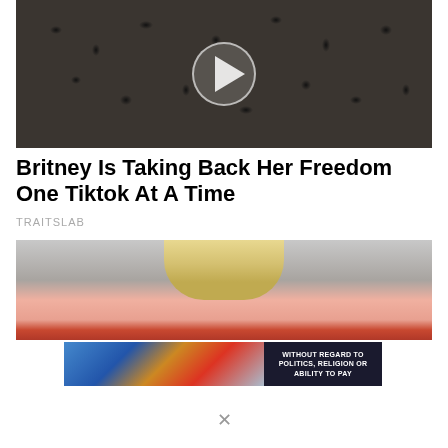[Figure (photo): Person wearing leopard-print outfit, video thumbnail with play button overlay]
Britney Is Taking Back Her Freedom One Tiktok At A Time
TRAITSLAB
[Figure (photo): Blonde woman with bob haircut looking at camera, partially obscured by advertisement banner]
[Figure (photo): Advertisement banner showing airplane on tarmac with text WITHOUT REGARD TO POLITICS, RELIGION OR ABILITY TO PAY]